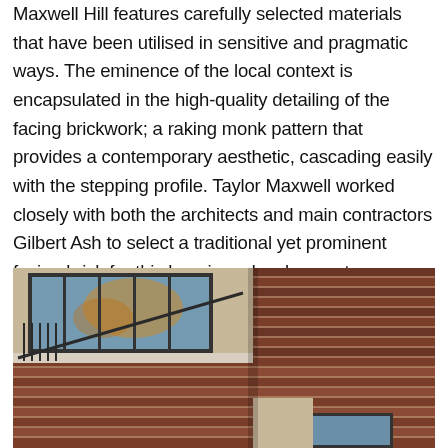Maxwell Hill features carefully selected materials that have been utilised in sensitive and pragmatic ways. The eminence of the local context is encapsulated in the high-quality detailing of the facing brickwork; a raking monk pattern that provides a contemporary aesthetic, cascading easily with the stepping profile. Taylor Maxwell worked closely with both the architects and main contractors Gilbert Ash to select a traditional yet prominent facing brick for this luxurious development.
[Figure (photo): Close-up architectural photograph of a modern residential building showing red brick facade with stepped profile, dark metal balcony railings, large windows reflecting autumn foliage, and a clear light blue sky in the background.]